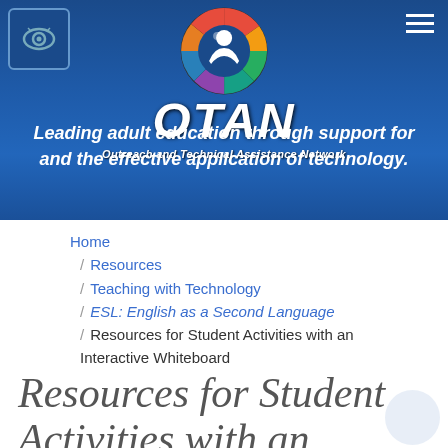[Figure (logo): OTAN logo - colorful circular icon with people figures and OTAN text with 'Outreach and Technical Assistance Network' subtitle. Eye icon in top-left corner. Hamburger menu in top-right.]
Leading adult education through support for and the effective application of technology.
Home
/ Resources
/ Teaching with Technology
/ ESL: English as a Second Language
/ Resources for Student Activities with an Interactive Whiteboard
Resources for Student Activities with an